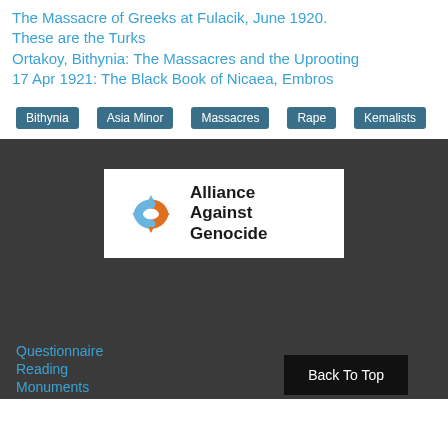The Massacre of Greeks at Fulacik, June 1920. These are the Turks
Ortakoy, Bithynia: The Massacres and the Uprooting
17 Apr 1921: The Black Book of Nicaea, Embros
Bithynia
Asia Minor
Massacres
Rape
Kemalists
[Figure (logo): Alliance Against Genocide logo with orange and blue cross/arrow symbol and bold text]
Questionnaire
Reading
Monuments
Back To Top